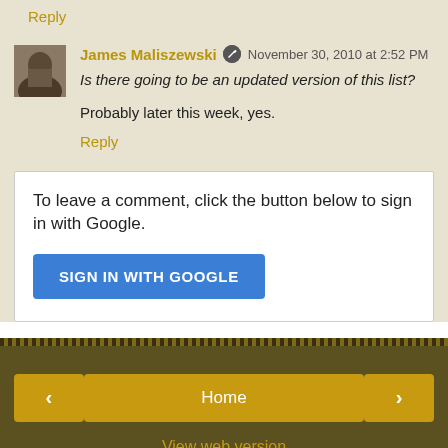Reply
James Maliszewski  November 30, 2010 at 2:52 PM
Is there going to be an updated version of this list?
Probably later this week, yes.
Reply
To leave a comment, click the button below to sign in with Google.
SIGN IN WITH GOOGLE
< Home >
View web version
Powered by Blogger.